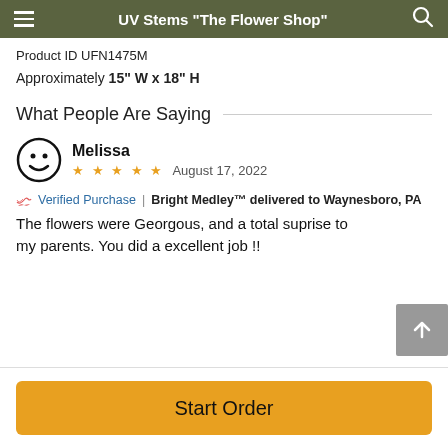UV Stems "The Flower Shop"
Product ID UFN1475M
Approximately 15" W x 18" H
What People Are Saying
Melissa
★ ★ ★ ★ ★   August 17, 2022
Verified Purchase  |  Bright Medley™ delivered to Waynesboro, PA
The flowers were Georgous, and a total suprise to my parents. You did a excellent job !!
Start Order